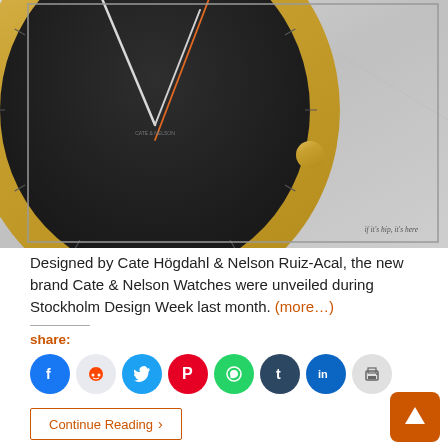[Figure (photo): Close-up photo of a minimalist watch with a gold case, dark gray dial with orange and white hands, and a black leather strap. Watermark reads 'if it's hip, it's here' in bottom right corner.]
Designed by Cate Högdahl & Nelson Ruiz-Acal, the new brand Cate & Nelson Watches were unveiled during Stockholm Design Week last month. (more...)
share:
Continue Reading ›